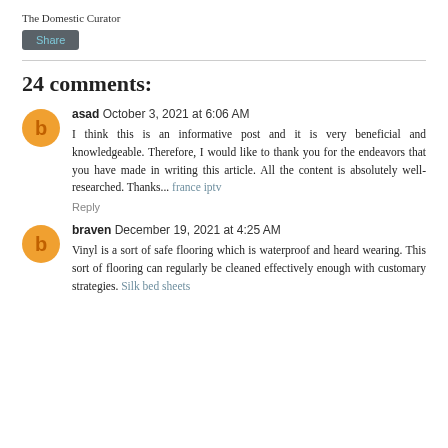The Domestic Curator
Share
24 comments:
asad  October 3, 2021 at 6:06 AM
I think this is an informative post and it is very beneficial and knowledgeable. Therefore, I would like to thank you for the endeavors that you have made in writing this article. All the content is absolutely well-researched. Thanks... france iptv
Reply
braven  December 19, 2021 at 4:25 AM
Vinyl is a sort of safe flooring which is waterproof and heard wearing. This sort of flooring can regularly be cleaned effectively enough with customary strategies. Silk bed sheets